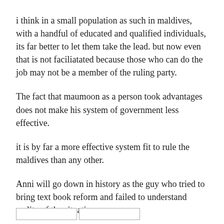i think in a small population as such in maldives, with a handful of educated and qualified individuals, its far better to let them take the lead. but now even that is not faciliatated because those who can do the job may not be a member of the ruling party.
The fact that maumoon as a person took advantages does not make his system of government less effective.
it is by far a more effective system fit to rule the maldives than any other.
Anni will go down in history as the guy who tried to bring text book reform and failed to understand reality of the situation.